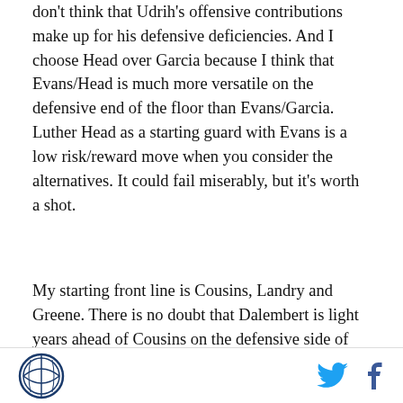don't think that Udrih's offensive contributions make up for his defensive deficiencies. And I choose Head over Garcia because I think that Evans/Head is much more versatile on the defensive end of the floor than Evans/Garcia. Luther Head as a starting guard with Evans is a low risk/reward move when you consider the alternatives. It could fail miserably, but it's worth a shot.
My starting front line is Cousins, Landry and Greene. There is no doubt that Dalembert is light years ahead of Cousins on the defensive side of the ball, but I really like the offensive synergy between Cousins and Landry. And honestly, with Evans and Head as your backcourt, a little of Cousins' interior passing ability
[logo] [twitter] [facebook]